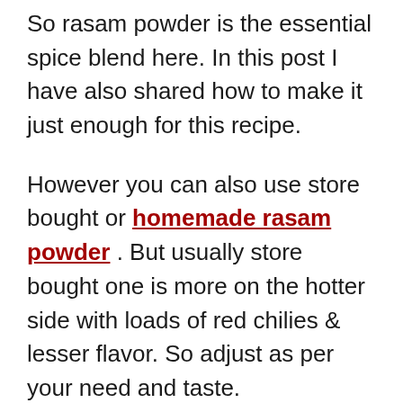So rasam powder is the essential spice blend here. In this post I have also shared how to make it just enough for this recipe.
However you can also use store bought or homemade rasam powder . But usually store bought one is more on the hotter side with loads of red chilies & lesser flavor. So adjust as per your need and taste.
Tomato rasam, as the name indicates is made with lots of fresh ripe tomatoes. Also known as thakkali rasam in Tamil and Tomato Charu in Telugu, this is made in